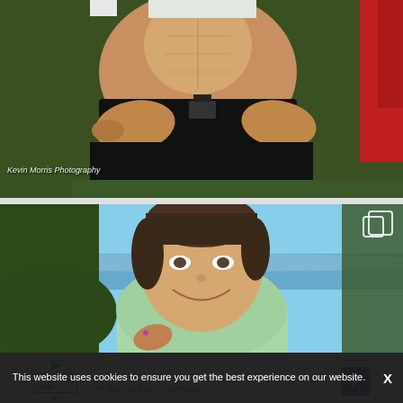[Figure (photo): Close-up photo of a runner's torso showing abs and a running belt. Photo credit: Kevin Morris Photography. Another runner in red shirt visible on right edge. Green grass background.]
Kevin Morris Photography
[Figure (photo): Smiling female runner with wet hair, running outdoors near water with blue sky background, wearing a light green tank top, holding something small in her hand.]
This website uses cookies to ensure you get the best experience on our website.
[Figure (infographic): Mattress Firm advertisement banner showing: In-store shopping, In-store pickup, Delivery options with checkmarks and navigation arrow icon.]